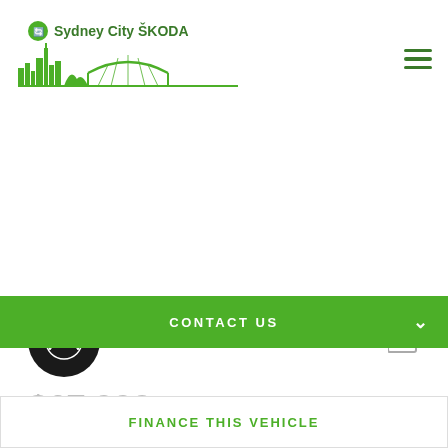[Figure (logo): Sydney City SKODA logo with green skyline illustration including buildings and harbour bridge]
[Figure (other): Hamburger menu icon (three green horizontal lines) in top right corner]
[Figure (other): Black circular speedometer icon on left side]
[Figure (other): Grey photo gallery icon on right side]
$67,990 Drive Away
CONTACT US
FINANCE THIS VEHICLE